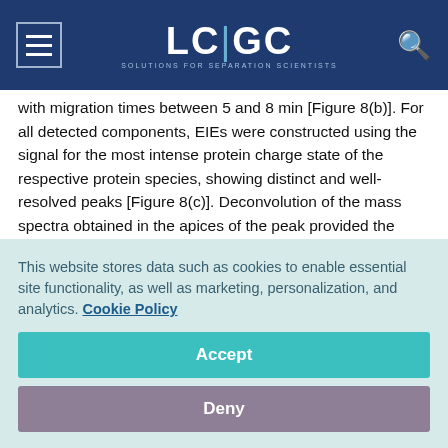LC|GC — Solutions for Separation Scientists
with migration times between 5 and 8 min [Figure 8(b)]. For all detected components, EIEs were constructed using the signal for the most intense protein charge state of the respective protein species, showing distinct and well-resolved peaks [Figure 8(c)]. Deconvolution of the mass spectra obtained in the apices of the peak provided the molecular weights of the components found. Taking into account the relative migration of the different components and the molecular masses of the platinum linker, the kinase inhibitors, the BOCmethionine
This website stores data such as cookies to enable essential site functionality, as well as marketing, personalization, and analytics. Cookie Policy
Accept
Deny